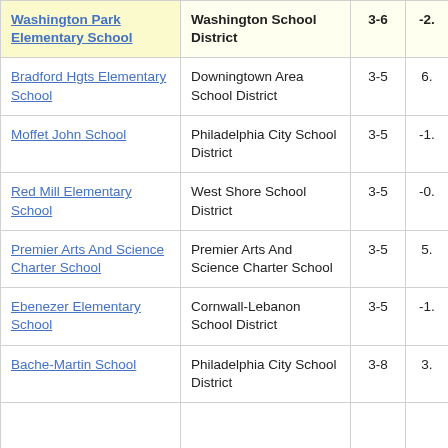| School | District | Grades | Value |
| --- | --- | --- | --- |
| Washington Park Elementary School | Washington School District | 3-6 | -2. |
| Bradford Hgts Elementary School | Downingtown Area School District | 3-5 | 6. |
| Moffet John School | Philadelphia City School District | 3-5 | -1. |
| Red Mill Elementary School | West Shore School District | 3-5 | -0. |
| Premier Arts And Science Charter School | Premier Arts And Science Charter School | 3-5 | 5. |
| Ebenezer Elementary School | Cornwall-Lebanon School District | 3-5 | -1. |
| Bache-Martin School | Philadelphia City School District | 3-8 | 3. |